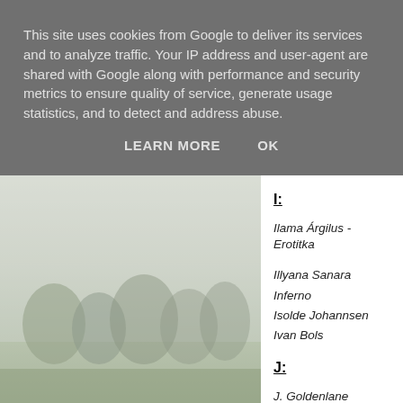This site uses cookies from Google to deliver its services and to analyze traffic. Your IP address and user-agent are shared with Google along with performance and security metrics to ensure quality of service, generate usage statistics, and to detect and address abuse.
LEARN MORE   OK
[Figure (photo): Foggy misty landscape with dark tree silhouettes, taken from a low angle showing grass in the foreground and foggy forest in the background]
I:
Ilama Árgilus - Erotitka
Illyana Sanara
Inferno
Isolde Johannsen
Ivan Bols
J:
J. Goldenlane
Jan van den Boomen